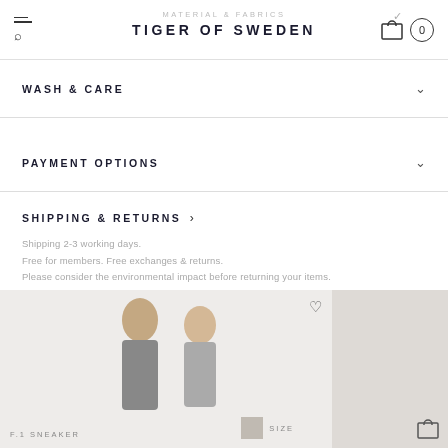TIGER OF SWEDEN
MATERIAL & FABRICS
WASH & CARE
PAYMENT OPTIONS
SHIPPING & RETURNS
Shipping 2-3 working days.
Free for members. Free exchanges & returns.
Please consider the environmental impact before returning your items.
WEAR IT WITH
[Figure (photo): Fashion e-commerce product page screenshots showing two models and product UI elements including sneaker label, size selector, and cart/wishlist icons]